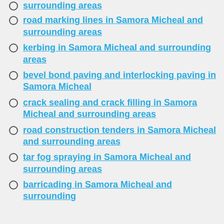surrounding areas
road marking lines in Samora Micheal and surrounding areas
kerbing in Samora Micheal and surrounding areas
bevel bond paving and interlocking paving in Samora Micheal
crack sealing and crack filling in Samora Micheal and surrounding areas
road construction tenders in Samora Micheal and surrounding areas
tar fog spraying in Samora Micheal and surrounding areas
barricading in Samora Micheal and surrounding